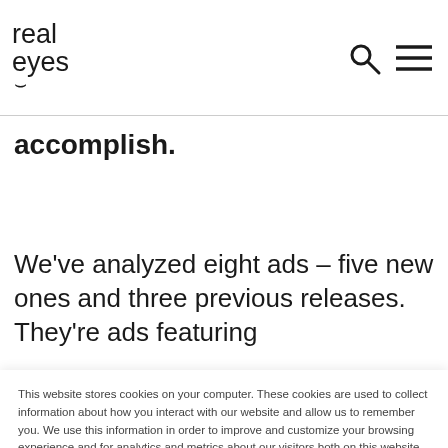real eyes
accomplish.
We've analyzed eight ads – five new ones and three previous releases. They're ads featuring
This website stores cookies on your computer. These cookies are used to collect information about how you interact with our website and allow us to remember you. We use this information in order to improve and customize your browsing experience and for analytics and metrics about our visitors both on this website and other media. To find out more about the cookies we use, see our Privacy Policy.

If you decline, your information won't be tracked when you visit this website. A single cookie will be used in your browser to remember your preference not to be tracked.
Accept
Decline